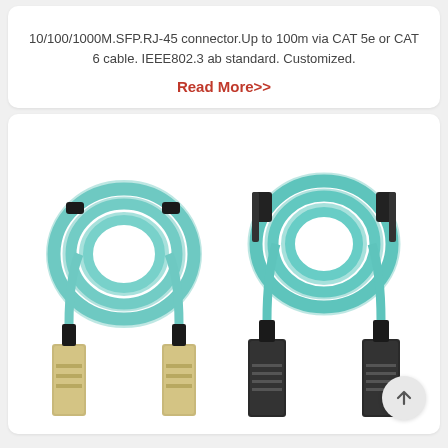10/100/1000M.SFP.RJ-45 connector.Up to 100m via CAT 5e or CAT 6 cable. IEEE802.3 ab standard. Customized.
Read More>>
[Figure (photo): Two pairs of fiber optic active optical cables (AOC) with aqua/teal colored cables and silver connectors, shown coiled. Left pair has gold-accented connectors with black cable ties; right pair has black/dark connectors. Both cables are QSFP or similar form factor.]